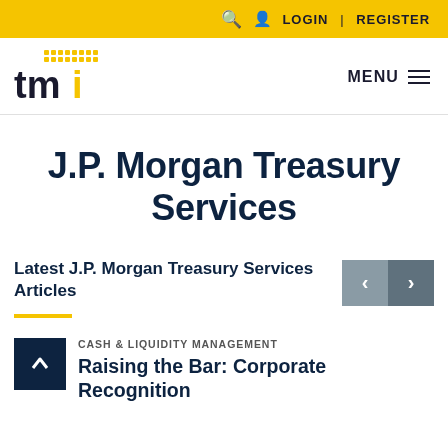🔍  👤 LOGIN | REGISTER
[Figure (logo): TMI logo with stylized tmi text in black and yellow dots grid]
MENU ≡
J.P. Morgan Treasury Services
Latest J.P. Morgan Treasury Services Articles
CASH & LIQUIDITY MANAGEMENT
Raising the Bar: Corporate Recognition